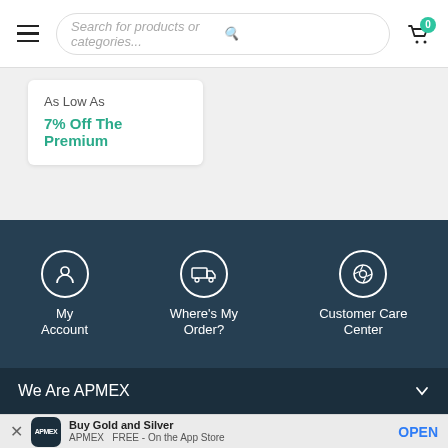Search for products or categories...
As Low As
7% Off The Premium
[Figure (infographic): Three icon buttons on dark blue bar: My Account (person icon), Where's My Order? (delivery truck icon), Customer Care Center (lifebuoy icon)]
We Are APMEX
Buying & Selling
Education
Policies
Buy Gold and Silver
APMEX
FREE - On the App Store